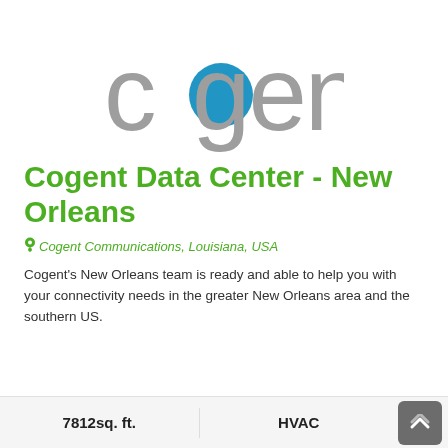[Figure (logo): Cogent logo: grey lowercase text 'cogent' with a blue filled circle replacing the letter 'o']
Cogent Data Center - New Orleans
📍 Cogent Communications, Louisiana, USA
Cogent's New Orleans team is ready and able to help you with your connectivity needs in the greater New Orleans area and the southern US.
7812sq. ft.   HVAC